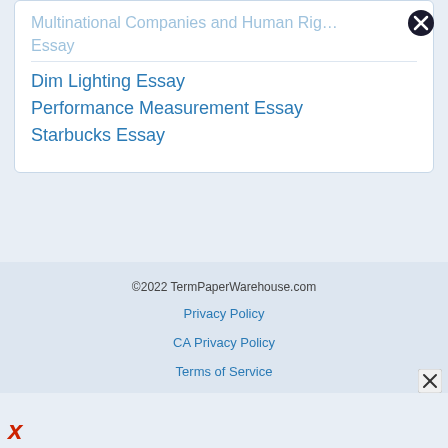Multinational Companies and Human Rights Essay
Essay
Dim Lighting Essay
Performance Measurement Essay
Starbucks Essay
©2022 TermPaperWarehouse.com
Privacy Policy
CA Privacy Policy
Terms of Service